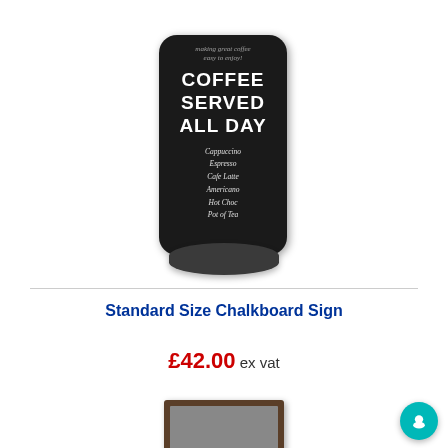[Figure (photo): A black chalkboard sign on a rounded base displaying 'making great coffee easy to enjoy' at the top, 'COFFEE SERVED ALL DAY' in large text, and a list of drinks: Cappuccino, Espresso, Cafe Latte, Americano, Hot Choc, Pot of Tea]
Standard Size Chalkboard Sign
£42.00 ex vat
[Figure (photo): Partial view of a dark brown framed chalkboard sign at the bottom of the page]